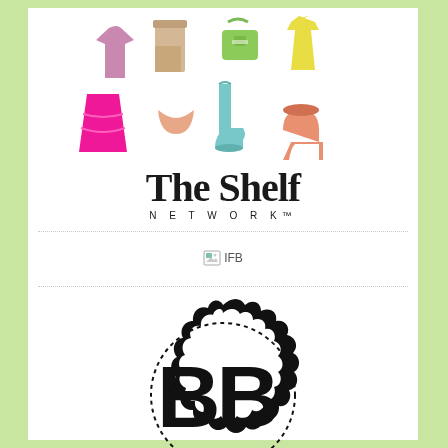[Figure (logo): The Shelf Network logo with colorful fashion items (shirt, pants, bag, dress, skirt, underwear, boots, heels) above bold serif text 'The Shelf' and 'NETWORK™']
[Figure (logo): IFB broken image placeholder with text 'IFB']
[Figure (logo): BB circular badge logo with bold black letters 'BB' inside a dotted circle with scalloped outer ring]